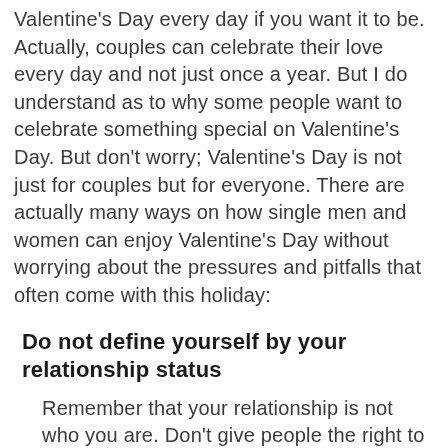Valentine's Day every day if you want it to be. Actually, couples can celebrate their love every day and not just once a year. But I do understand as to why some people want to celebrate something special on Valentine's Day. But don't worry; Valentine's Day is not just for couples but for everyone. There are actually many ways on how single men and women can enjoy Valentine's Day without worrying about the pressures and pitfalls that often come with this holiday:
Do not define yourself by your relationship status
Remember that your relationship is not who you are. Don't give people the right to judge you by being single or being in a relationship. It